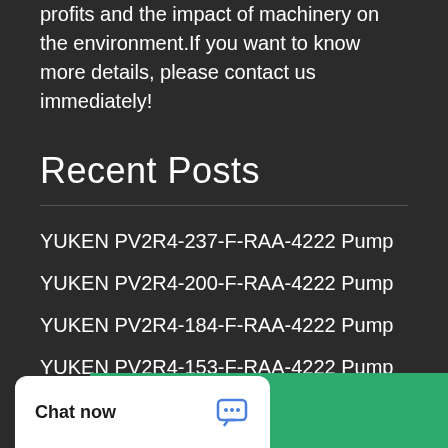profits and the impact of machinery on the environment.If you want to know more details, please contact us immediately!
Recent Posts
YUKEN PV2R4-237-F-RAA-4222 Pump
YUKEN PV2R4-200-F-RAA-4222 Pump
YUKEN PV2R4-184-F-RAA-4222 Pump
YUKEN PV2R4-153-F-RAA-4222 Pump
YUKEN PV2R4-136-F-RAA-4222 Pump